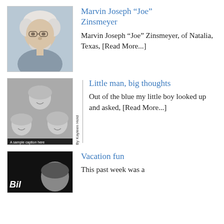[Figure (photo): Portrait photo of an elderly man with white hair and beard, wearing glasses and a grey shirt]
Marvin Joseph “Joe” Zinsmeyer
Marvin Joseph “Joe” Zinsmeyer, of Natalia, Texas, [Read More...]
[Figure (photo): Black and white photo of three children (two girls and a boy) smiling, with byline 'By Kayleen Hold']
Little man, big thoughts
Out of the blue my little boy looked up and asked, [Read More...]
[Figure (photo): Black and white photo partially visible, dark background with a child's face]
Vacation fun
This past week was a